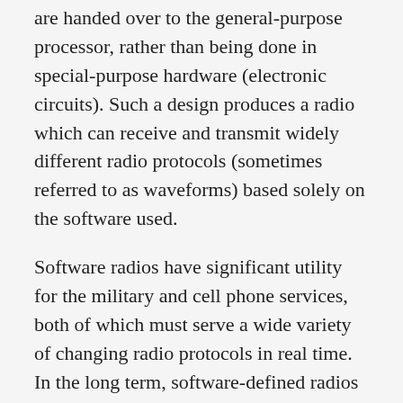AI front-end. Significant amounts of signal processing are handed over to the general-purpose processor, rather than being done in special-purpose hardware (electronic circuits). Such a design produces a radio which can receive and transmit widely different radio protocols (sometimes referred to as waveforms) based solely on the software used.
Software radios have significant utility for the military and cell phone services, both of which must serve a wide variety of changing radio protocols in real time. In the long term, software-defined radios are expected by proponents like the Wireless Innovation Forum to become the dominant technology in radio communications. SDRs, along with software defined antennas are the enablers of the cognitive radio.
A software-defined radio can be flexible enough to avoid the “limited spectrum” assumptions of